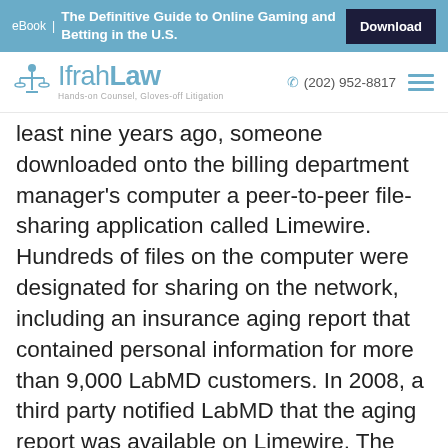eBook | The Definitive Guide to Online Gaming and Betting in the U.S. [Download]
[Figure (logo): Ifrah Law logo with scales icon and tagline 'Hands-on Counsel, Gloves-off Litigation', phone number (202) 952-8817]
least nine years ago, someone downloaded onto the billing department manager's computer a peer-to-peer file-sharing application called Limewire. Hundreds of files on the computer were designated for sharing on the network, including an insurance aging report that contained personal information for more than 9,000 LabMD customers. In 2008, a third party notified LabMD that the aging report was available on Limewire. The application was promptly removed from the billing department manager's computer, but the